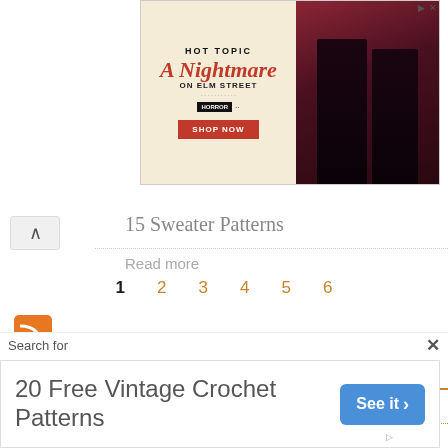[Figure (photo): Hot Topic advertisement for A Nightmare on Elm Street merchandise, showing two figures in dark clothing against a red curtain backdrop, with 'SHOP NOW' button]
15 Sweater Patterns
Read more
1 2 3 4 5 6 (pagination)
[Figure (other): RSS feed orange icon]
Pattern Categories
Browse the categories to help you find the patterns you're looking for.
Afghan Patterns
Applique Patterns
Apron Patterns
Doll Patterns
Dress Patterns
Edging Patterns
Search for
[Figure (other): Bottom advertisement: 20 Free Vintage Crochet Patterns with See it button]